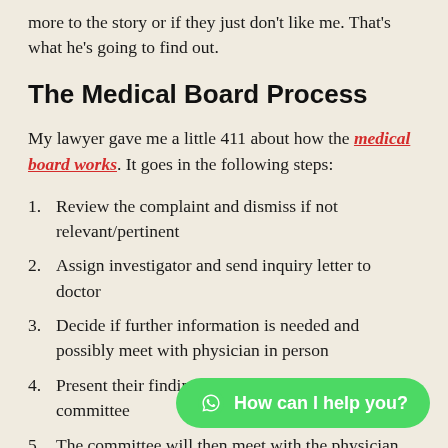more to the story or if they just don't like me. That's what he's going to find out.
The Medical Board Process
My lawyer gave me a little 411 about how the medical board works. It goes in the following steps:
Review the complaint and dismiss if not relevant/pertinent
Assign investigator and send inquiry letter to doctor
Decide if further information is needed and possibly meet with physician in person
Present their findings to the medical board committee
The committee will then meet with the physician for an interview
A ruling will be decided on and forwarded to the